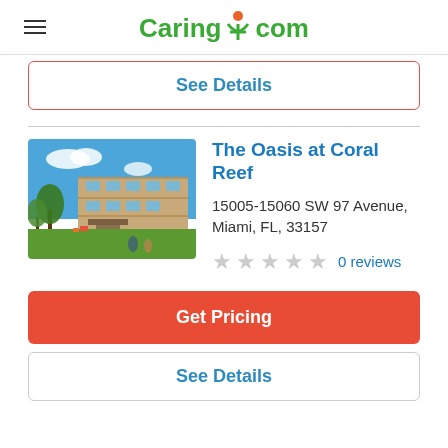Caring.com
See Details
The Oasis at Coral Reef
15005-15060 SW 97 Avenue, Miami, FL, 33157
0 reviews
Get Pricing
See Details